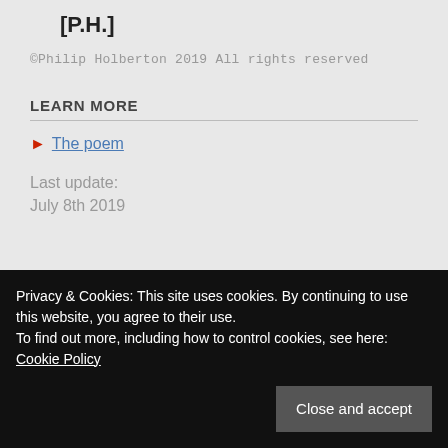[P.H.]
©Philip Holberton 2019 All rights reserved
LEARN MORE
The poem
Last update:
July 8th 2019
SHARE THIS
Privacy & Cookies: This site uses cookies. By continuing to use this website, you agree to their use.
To find out more, including how to control cookies, see here:
Cookie Policy
Close and accept